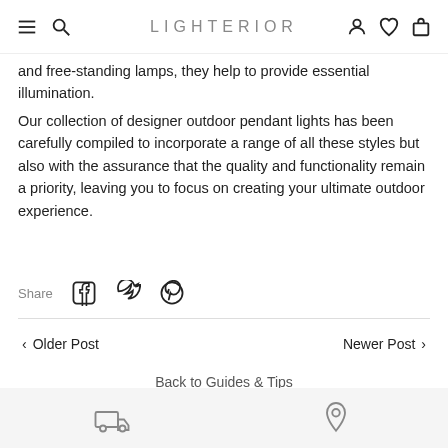LIGHTERIOR
and free-standing lamps, they help to provide essential illumination.
Our collection of designer outdoor pendant lights has been carefully compiled to incorporate a range of all these styles but also with the assurance that the quality and functionality remain a priority, leaving you to focus on creating your ultimate outdoor experience.
Share
< Older Post
Newer Post >
Back to Guides & Tips